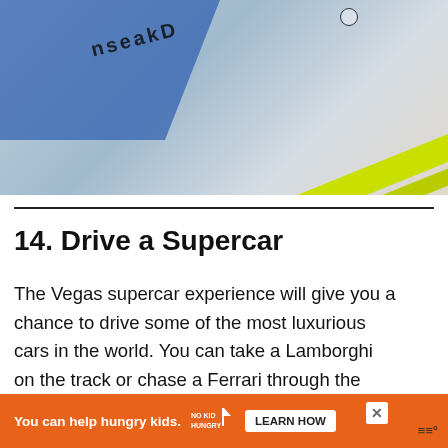[Figure (photo): Partial view of a racing car or airplane with yellow markings and blue body, text reading 'nseakD' visible on the vehicle surface, photographed from above on a light surface.]
14. Drive a Supercar
The Vegas supercar experience will give you a chance to drive some of the most luxurious cars in the world. You can take a Lamborghini on the track or chase a Ferrari through the desert. Where else in the world can you do this?
[Figure (other): Orange advertisement banner: 'You can help hungry kids.' with No Kid Hungry logo and LEARN HOW button]